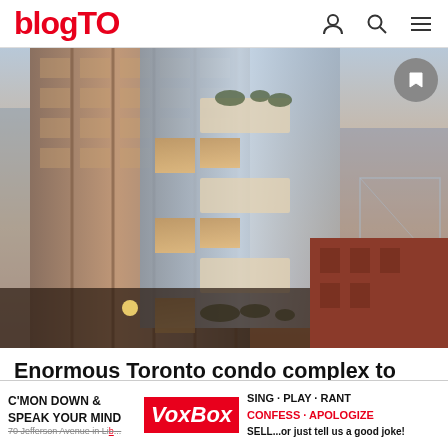blogTO
[Figure (photo): Architectural rendering of an enormous modern Toronto condo complex tower with glass facade, floating balconies with gardens, photographed from street level looking up at dusk]
Enormous Toronto condo complex to feature floating gardens in the sky
[Figure (other): Advertisement for VoxBox: C'MON DOWN & SPEAK YOUR MIND - SING · PLAY · RANT CONFESS · APOLOGIZE SELL...or just tell us a good joke! 70 Jefferson Avenue in Liberty Village. Load h...]